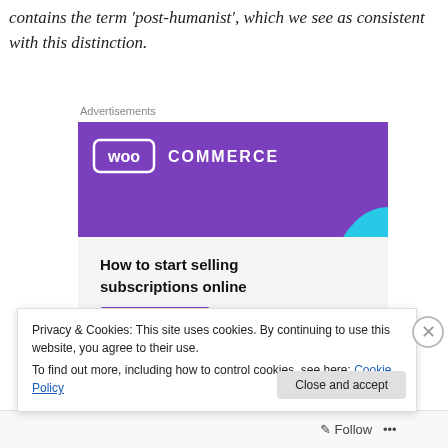contains the term 'post-humanist', which we see as consistent with this distinction.
Advertisements
[Figure (screenshot): WooCommerce advertisement banner showing purple logo area with 'WOO COMMERCE' text, teal triangle, blue arc, and text 'How to start selling subscriptions online' with a 'Start a new store' button.]
Privacy & Cookies: This site uses cookies. By continuing to use this website, you agree to their use.
To find out more, including how to control cookies, see here: Cookie Policy
Follow